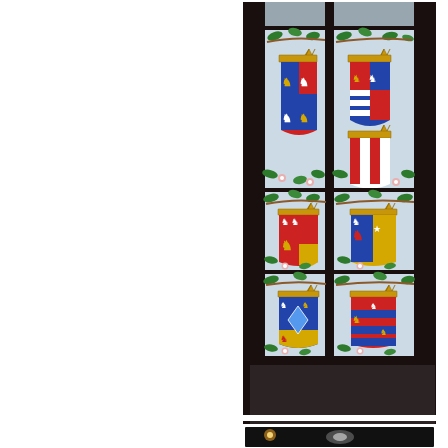[Figure (photo): Stained glass window featuring six heraldic coat of arms shields arranged in a 2x3 grid, each with colorful medieval heraldry including lions, crowns, and chevrons in red, blue, gold, and white, surrounded by decorative ivy leaves and roses on a white background. The window panes are separated by dark leading mullions.]
[Figure (photo): Partial view of another dark interior photograph, partially cut off at the bottom of the page, showing dim lighting and some architectural elements.]